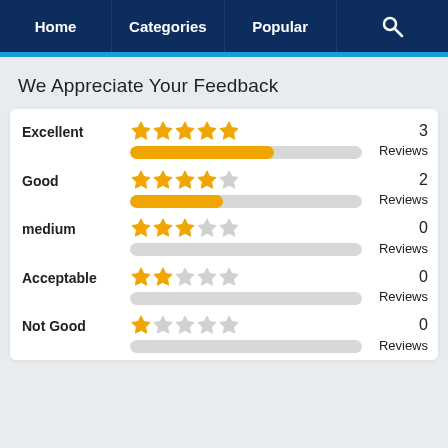Home | Categories | Popular | Search
We Appreciate Your Feedback
| Rating | Stars | Bar | Count |
| --- | --- | --- | --- |
| Excellent | 5 stars | ~60% | 3 Reviews |
| Good | 4 stars | ~40% | 2 Reviews |
| medium | 3 stars | 0% | 0 Reviews |
| Acceptable | 2 stars | 0% | 0 Reviews |
| Not Good | 1 star | 0% | 0 Reviews |